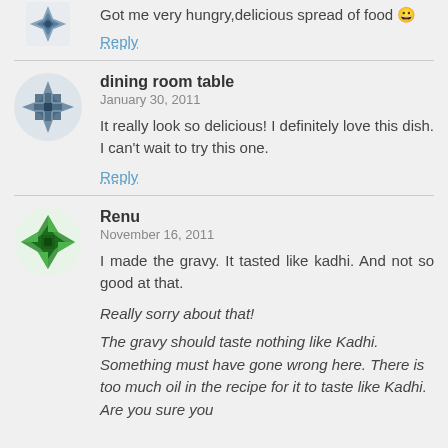Got me very hungry,delicious spread of food 😀
Reply
dining room table
January 30, 2011
It really look so delicious! I definitely love this dish. I can't wait to try this one.
Reply
Renu
November 16, 2011
I made the gravy. It tasted like kadhi. And not so good at that.
Really sorry about that!
The gravy should taste nothing like Kadhi. Something must have gone wrong here. There is too much oil in the recipe for it to taste like Kadhi. Are you sure you